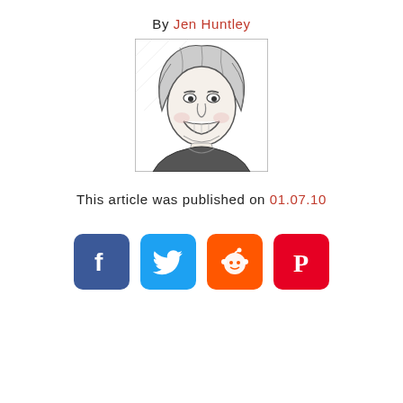By Jen Huntley
[Figure (illustration): Black and white sketch/caricature illustration of a smiling woman with wavy hair]
This article was published on 01.07.10
[Figure (other): Social media sharing icons: Facebook, Twitter, Reddit, Pinterest]